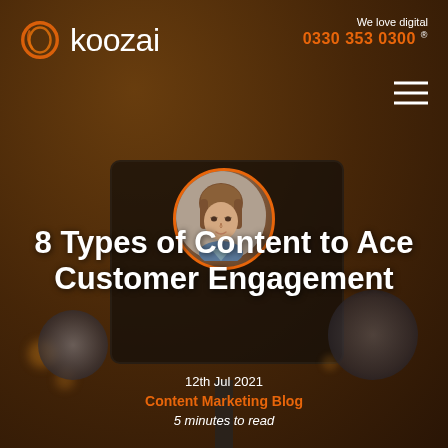[Figure (screenshot): Koozai website header screenshot showing logo, phone number, hamburger menu, and blog post hero image with camera/smartphone on gimbal, author headshot, article title, date, category, and reading time]
We love digital 0330 353 0300
8 Types of Content to Ace Customer Engagement
12th Jul 2021
Content Marketing Blog
5 minutes to read